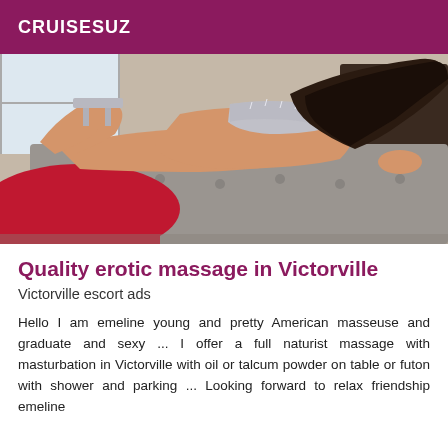CRUISESUZ
[Figure (photo): Woman lying face down on a sofa/couch wearing a red skirt and silver heels and a silver strapless top, photographed from behind.]
Quality erotic massage in Victorville
Victorville escort ads
Hello I am emeline young and pretty American masseuse and graduate and sexy ... I offer a full naturist massage with masturbation in Victorville with oil or talcum powder on table or futon with shower and parking ... Looking forward to relax friendship emeline